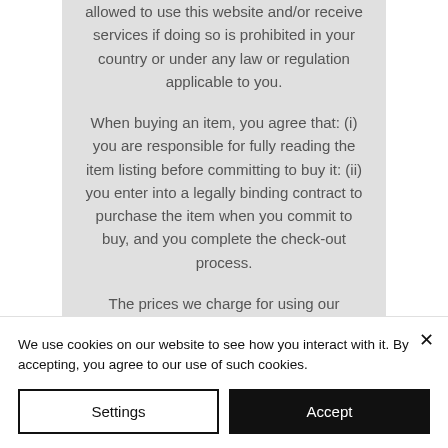allowed to use this website and/or receive services if doing so is prohibited in your country or under any law or regulation applicable to you.
When buying an item, you agree that: (i) you are responsible for fully reading the item listing before committing to buy it: (ii) you enter into a legally binding contract to purchase the item when you commit to buy, and you complete the check-out process.
The prices we charge for using our
We use cookies on our website to see how you interact with it. By accepting, you agree to our use of such cookies.